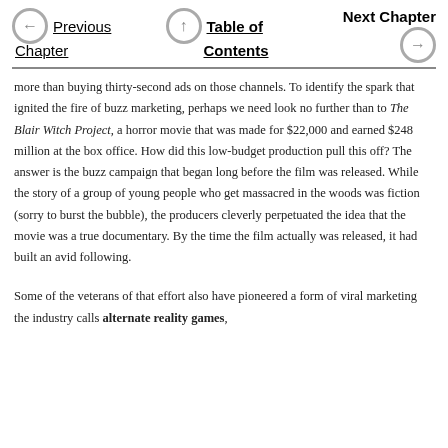Previous Chapter | Table of Contents | Next Chapter
more than buying thirty-second ads on those channels. To identify the spark that ignited the fire of buzz marketing, perhaps we need look no further than to The Blair Witch Project, a horror movie that was made for $22,000 and earned $248 million at the box office. How did this low-budget production pull this off? The answer is the buzz campaign that began long before the film was released. While the story of a group of young people who get massacred in the woods was fiction (sorry to burst the bubble), the producers cleverly perpetuated the idea that the movie was a true documentary. By the time the film actually was released, it had built an avid following.
Some of the veterans of that effort also have pioneered a form of viral marketing the industry calls alternate reality games,